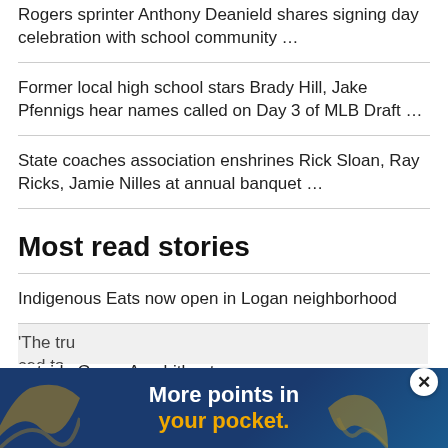Rogers sprinter Anthony Deanield shares signing day celebration with school community …
Former local high school stars Brady Hill, Jake Pfennigs hear names called on Day 3 of MLB Draft …
State coaches association enshrines Rick Sloan, Ray Ricks, Jamie Nilles at annual banquet …
Most read stories
Indigenous Eats now open in Logan neighborhood
Grant County deputies arrest man armed with pistols outside Gorge Amphitheatre
'The tru… …ced to
[Figure (infographic): Advertisement banner: 'More points in your pocket.' on dark blue background with orange decorative swirls and a close (X) button]